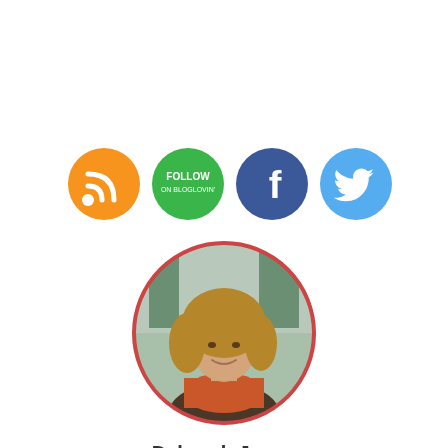[Figure (other): Four circular social media icon buttons: orange RSS feed icon, green FOLLOW button, dark blue Facebook icon with 'f', and light blue Twitter bird icon]
[Figure (photo): Circular cropped portrait photo of Deborah Jones, a woman with curly auburn/blonde hair, wearing an orange/red scarf, with a blurred outdoor background. The circle has a red/pink border.]
Deborah Jones